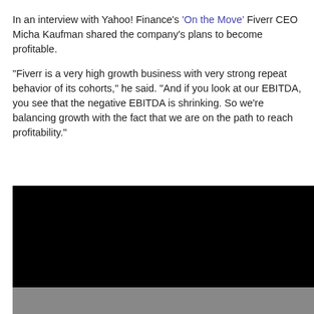In an interview with Yahoo! Finance's 'On the Move' Fiverr CEO Micha Kaufman shared the company's plans to become profitable.
“Fiverr is a very high growth business with very strong repeat behavior of its cohorts,” he said. “And if you look at our EBITDA, you see that the negative EBITDA is shrinking. So we’re balancing growth with the fact that we are on the path to reach profitability.”
[Figure (screenshot): Embedded video player showing a black screen (video thumbnail), with a gray control bar beneath it.]